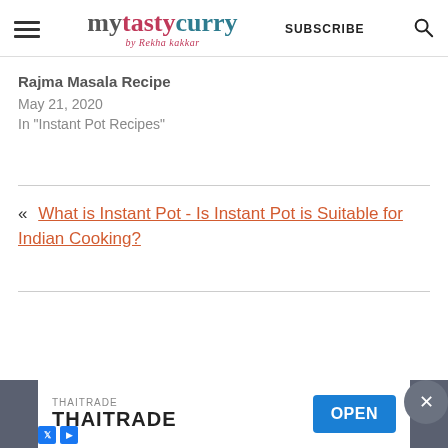mytastycurry by Rekha kakkar — SUBSCRIBE
Rajma Masala Recipe
May 21, 2020
In "Instant Pot Recipes"
« What is Instant Pot - Is Instant Pot is Suitable for Indian Cooking?
[Figure (other): Advertisement banner: THAITRADE with OPEN button]